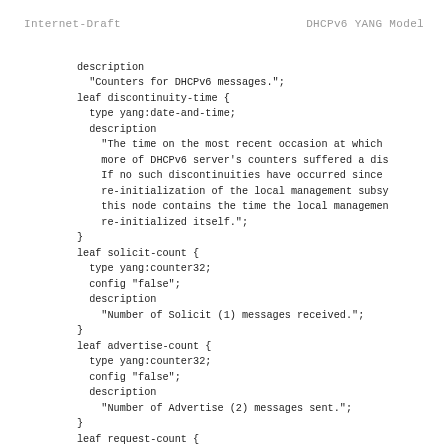Internet-Draft                    DHCPv6 YANG Model
description
  "Counters for DHCPv6 messages.";
leaf discontinuity-time {
  type yang:date-and-time;
  description
    "The time on the most recent occasion at which
    more of DHCPv6 server's counters suffered a dis
    If no such discontinuities have occurred since
    re-initialization of the local management subsy
    this node contains the time the local managemen
    re-initialized itself.";
}
leaf solicit-count {
  type yang:counter32;
  config "false";
  description
    "Number of Solicit (1) messages received.";
}
leaf advertise-count {
  type yang:counter32;
  config "false";
  description
    "Number of Advertise (2) messages sent.";
}
leaf request-count {
  type yang:counter32;